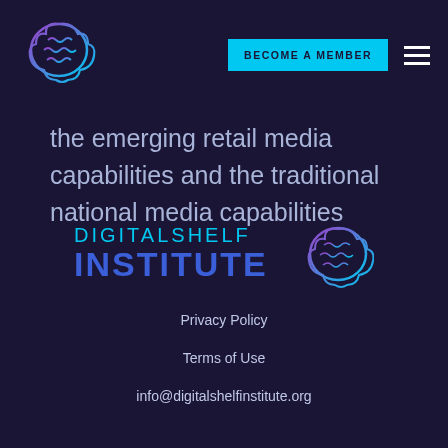[Figure (logo): Digital Shelf Institute brain logo (small, top-left header)]
BECOME A MEMBER
the emerging retail media capabilities and the traditional national media capabilities
[Figure (logo): Digital Shelf Institute full logo with brain icon, centered at bottom]
Privacy Policy
Terms of Use
info@digitalshelfinstitute.org